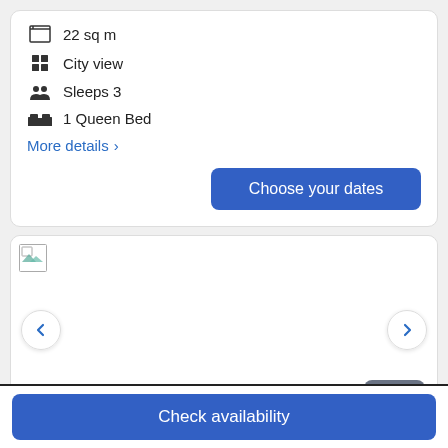22 sq m
City view
Sleeps 3
1 Queen Bed
More details >
Choose your dates
[Figure (photo): Hotel room image carousel with navigation arrows and photo count badge showing 5 photos]
Check availability